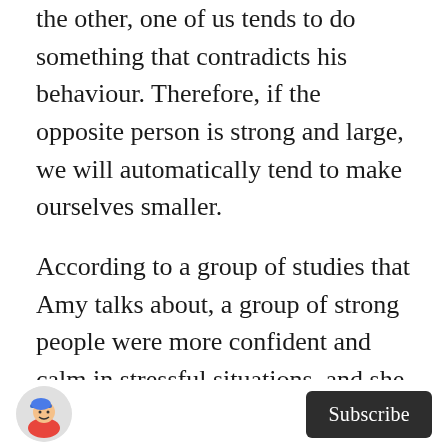the other, one of us tends to do something that contradicts his behaviour. Therefore, if the opposite person is strong and large, we will automatically tend to make ourselves smaller.
According to a group of studies that Amy talks about, a group of strong people were more confident and calm in stressful situations, and she attributed this to having a higher amount of the dominant hormone (testosterone) and less amount of the stress hormone (cortisol). Through her experiment, she found that body language was able to alter these hormone levels, by adopting high-energy or low-energy poses for two minutes to affect the level of
[Figure (illustration): Circular avatar icon showing a cartoon character wearing a blue cap]
Subscribe